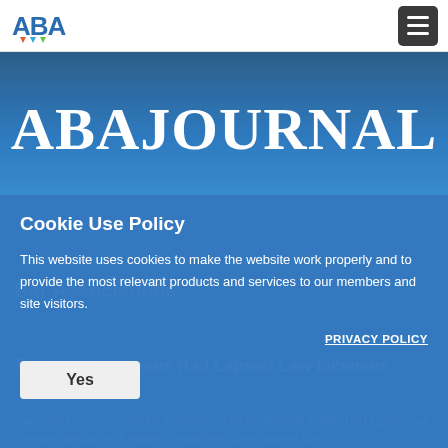ABA Journal navigation header with logo and hamburger menu
ABAJOURNAL
Cookie Use Policy
This website uses cookies to make the website work properly and to provide the most relevant products and services to our members and site visitors.
PRIVACY POLICY
Yes
Bar Associations
Two DOJ Nominees Had Lapsed Law Licenses
Two nominees for top jobs in the Justice Department briefly had lapsed law licenses because of missed deadlines. One blamed the